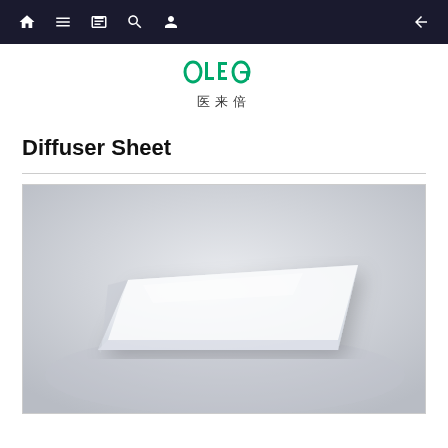Navigation bar with home, menu, book, search, profile icons and back arrow
[Figure (logo): OLEG brand logo with green stylized letters and Chinese characters below reading 医来倍]
Diffuser Sheet
[Figure (photo): Product photo of a white rectangular diffuser sheet placed at an angle on a light gray background, showing the flat thin profile of the sheet]